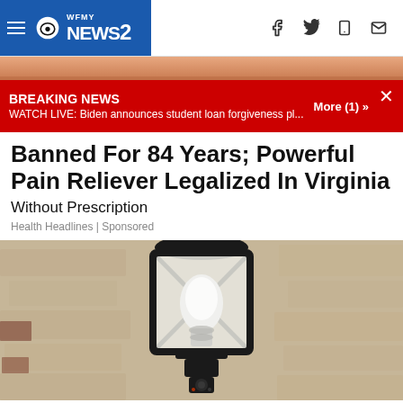WFMY NEWS 2
BREAKING NEWS
WATCH LIVE: Biden announces student loan forgiveness pl...
More (1) »
[Figure (photo): Partial photo of a person at the top of the page, cropped]
Banned For 84 Years; Powerful Pain Reliever Legalized In Virginia
Without Prescription
Health Headlines | Sponsored
[Figure (photo): An outdoor wall-mounted lantern fixture with a light bulb visible inside the black metal cage, mounted on a textured stone/stucco wall]